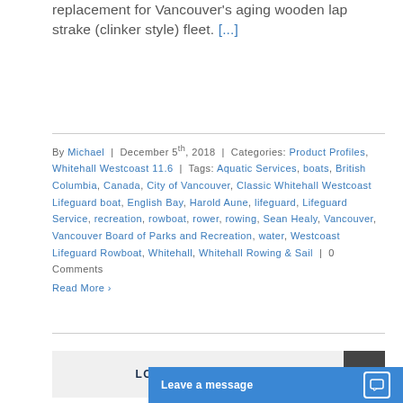replacement for Vancouver's aging wooden lap strake (clinker style) fleet. [...]
By Michael | December 5th, 2018 | Categories: Product Profiles, Whitehall Westcoast 11.6 | Tags: Aquatic Services, boats, British Columbia, Canada, City of Vancouver, Classic Whitehall Westcoast Lifeguard boat, English Bay, Harold Aune, lifeguard, Lifeguard Service, recreation, rowboat, rower, rowing, Sean Healy, Vancouver, Vancouver Board of Parks and Recreation, water, Westcoast Lifeguard Rowboat, Whitehall, Whitehall Rowing & Sail | 0 Comments
Read More >
LOAD MORE POSTS
Leave a message